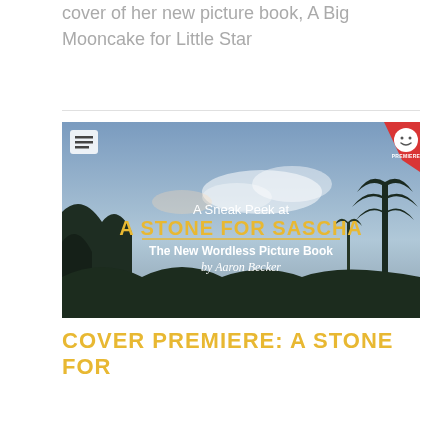cover of her new picture book, A Big Mooncake for Little Star
[Figure (screenshot): A promotional image for a wordless picture book. It shows a scenic landscape with silhouetted trees and mountains against a blue sky with clouds. Text overlay reads: 'A Sneak Peek at A STONE FOR SASCHA The New Wordless Picture Book by Aaron Becker'. There is a menu icon in the top-left corner and a red 'PREMIERE' badge with a smiley face in the top-right corner.]
COVER PREMIERE: A STONE FOR